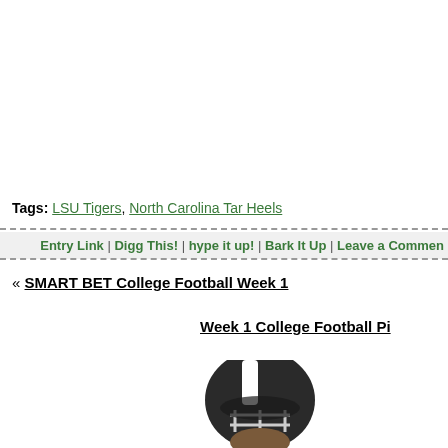Tags: LSU Tigers, North Carolina Tar Heels
Entry Link | Digg This! | hype it up! | Bark It Up | Leave a Comment
« SMART BET College Football Week 1
Week 1 College Football Pi
[Figure (photo): Football player wearing helmet and face mask, cropped view showing head and upper body]